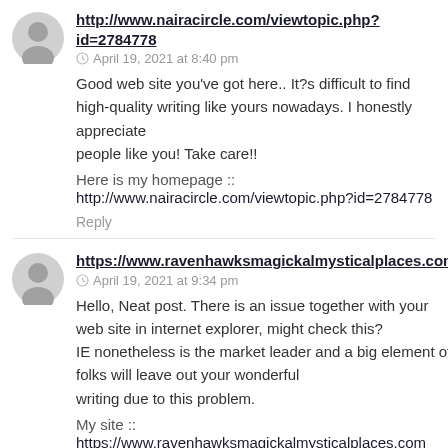http://www.nairacircle.com/viewtopic.php?id=2784778
April 19, 2021 at 8:40 pm
Good web site you've got here.. It?s difficult to find high-quality writing like yours nowadays. I honestly appreciate people like you! Take care!!
Here is my homepage ::
http://www.nairacircle.com/viewtopic.php?id=2784778
Reply
https://www.ravenhawksmagickalmysticalplaces.com
April 19, 2021 at 9:34 pm
Hello, Neat post. There is an issue together with your web site in internet explorer, might check this? IE nonetheless is the market leader and a big element of folks will leave out your wonderful writing due to this problem.
My site ::
https://www.ravenhawksmagickalmysticalplaces.com
Reply